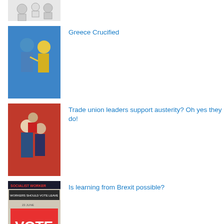(thumbnail image - top partial)
Greece Crucified
Trade union leaders support austerity? Oh yes they do!
Is learning from Brexit possible?
The redundancy of the capitalist class
(thumbnail image - bottom partial)